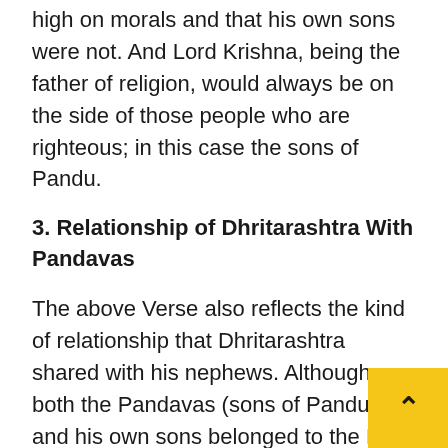high on morals and that his own sons were not. And Lord Krishna, being the father of religion, would always be on the side of those people who are righteous; in this case the sons of Pandu.
3. Relationship of Dhritarashtra With Pandavas
The above Verse also reflects the kind of relationship that Dhritarashtra shared with his nephews. Although both the Pandavas (sons of Pandu) and his own sons belonged to the Kuru Dynasty, Dhritarshatra